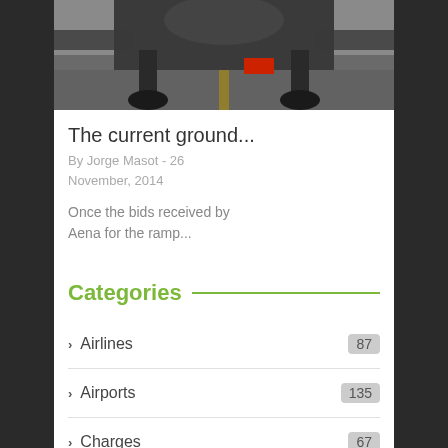[Figure (photo): Underside view of an aircraft on a runway/taxiway with a yellow center line, tarmac visible, red ground vehicle in background]
The current ground...
By Jorge Masot - 26 November, 2014
Once the bids received by Aena for the ramp...
Categories
Airlines 87
Airports 135
Charges 67